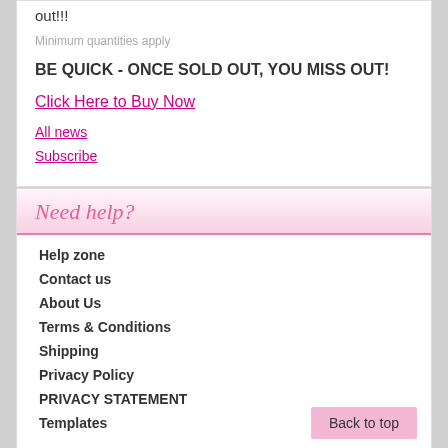out!!!
Minimum quantities apply
BE QUICK - ONCE SOLD OUT, YOU MISS OUT!
Click Here to Buy Now
All news
Subscribe
Need help?
Help zone
Contact us
About Us
Terms & Conditions
Shipping
Privacy Policy
PRIVACY STATEMENT
Templates
Back to top